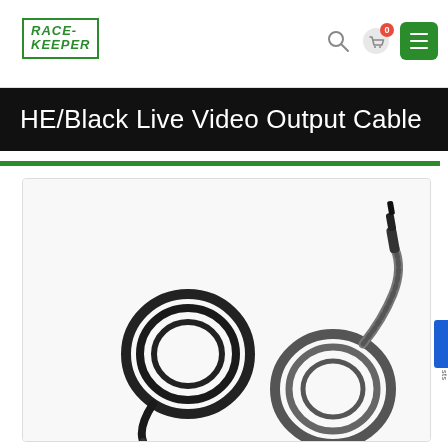[Figure (logo): Race-Keeper logo in green with rectangular border]
HE/Black Live Video Output Cable
[Figure (photo): Product photo showing two black video output cables — one coiled black cable with angled 3.5mm jack and one coiled silver/grey cable with straight connector]